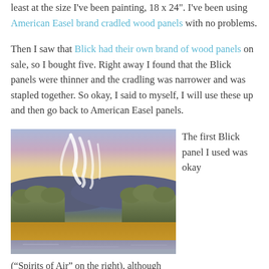least at the size I've been painting, 18 x 24". I've been using American Easel brand cradled wood panels with no problems.
Then I saw that Blick had their own brand of wood panels on sale, so I bought five. Right away I found that the Blick panels were thinner and the cradling was narrower and was stapled together. So okay, I said to myself, I will use these up and then go back to American Easel panels.
[Figure (photo): Landscape painting titled 'Spirits of Air' showing rolling hills with trees, a body of water in the foreground, and dramatic wispy white light forms against a pink and blue sky.]
The first Blick panel I used was okay
("Spirits of Air" on the right), although